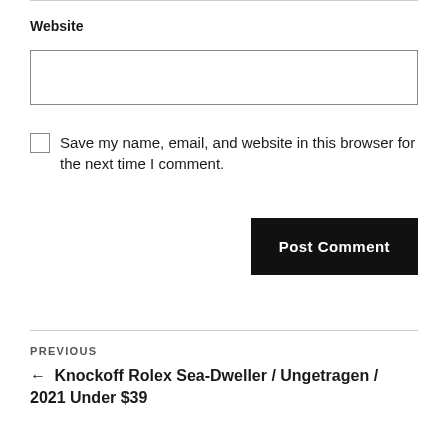Website
Save my name, email, and website in this browser for the next time I comment.
Post Comment
PREVIOUS
← Knockoff Rolex Sea-Dweller / Ungetragen / 2021 Under $39